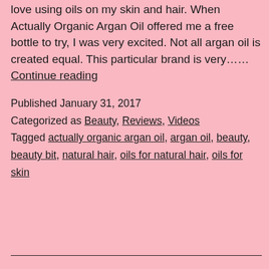love using oils on my skin and hair. When Actually Organic Argan Oil offered me a free bottle to try, I was very excited. Not all argan oil is created equal. This particular brand is very…… Continue reading
Published January 31, 2017
Categorized as Beauty, Reviews, Videos
Tagged actually organic argan oil, argan oil, beauty, beauty bit, natural hair, oils for natural hair, oils for skin